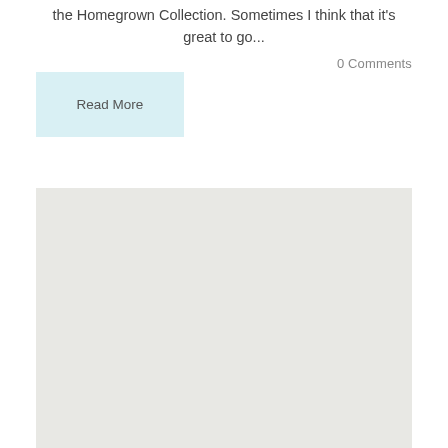the Homegrown Collection. Sometimes I think that it's great to go...
0 Comments
Read More
[Figure (other): A large light gray rectangular placeholder image block]